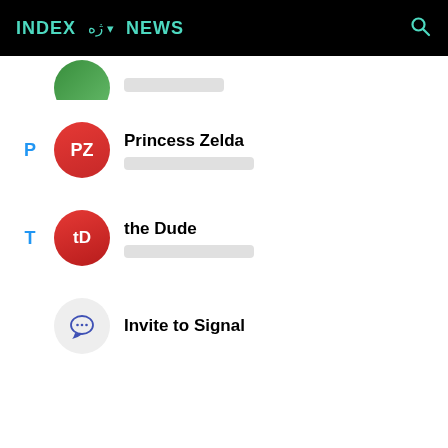INDEX  ژه  NEWS
[Figure (screenshot): Signal app contact list showing partially visible contact at top, then Princess Zelda (PZ avatar, red), the Dude (tD avatar, red), and Invite to Signal option with chat bubble icon]
Princess Zelda
the Dude
Invite to Signal